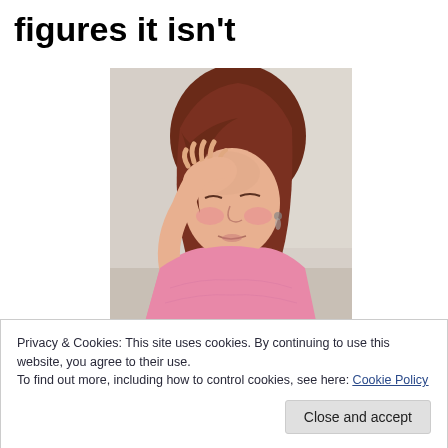figures it isn't
[Figure (photo): A woman with reddish-brown hair wearing a pink top, holding her hand to her forehead in a distressed or worried pose, looking downward.]
Privacy & Cookies: This site uses cookies. By continuing to use this website, you agree to their use.
To find out more, including how to control cookies, see here: Cookie Policy
Close and accept